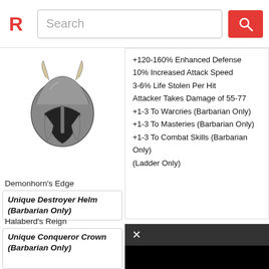Search
[Figure (illustration): Demonhorn's Edge - Unique Destroyer Helm item image showing a horned barbarian helmet]
Demonhorn's Edge
Unique Destroyer Helm (Barbarian Only)
? Tier
[Figure (illustration): Halaberd's Reign - Unique Conqueror Crown item image showing a winged helmet]
Halaberd's Reign
Unique Conqueror Crown (Barbarian Only)
+120-160% Enhanced Defense
10% Increased Attack Speed
3-6% Life Stolen Per Hit
Attacker Takes Damage of 55-77
+1-3 To Warcries (Barbarian Only)
+1-3 To Masteries (Barbarian Only)
+1-3 To Combat Skills (Barbarian Only)
(Ladder Only)
+1-3 To Masteries (Barbarian Only)
+1-3 To Combat Skills (Barbarian Only)
(Ladder Only)